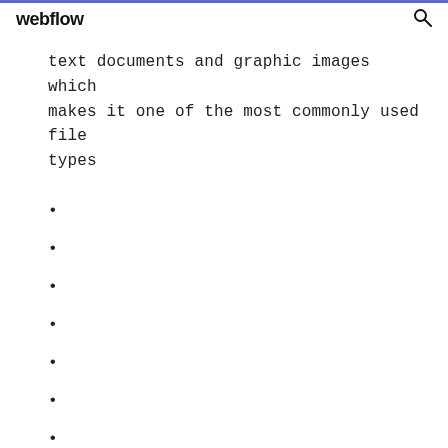webflow
text documents and graphic images which makes it one of the most commonly used file types